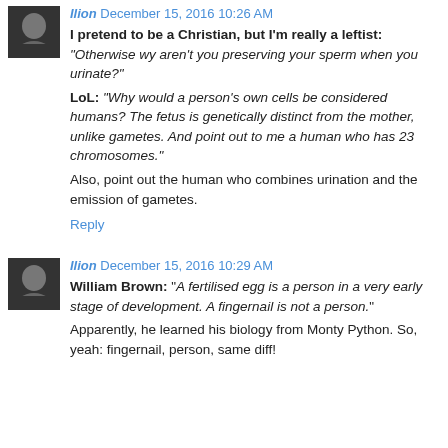Ilion December 15, 2016 10:26 AM
I pretend to be a Christian, but I'm really a leftist: "Otherwise wy aren't you preserving your sperm when you urinate?"
LoL: "Why would a person's own cells be considered humans? The fetus is genetically distinct from the mother, unlike gametes. And point out to me a human who has 23 chromosomes."
Also, point out the human who combines urination and the emission of gametes.
Reply
Ilion December 15, 2016 10:29 AM
William Brown: "A fertilised egg is a person in a very early stage of development. A fingernail is not a person."
Apparently, he learned his biology from Monty Python. So, yeah: fingernail, person, same diff!